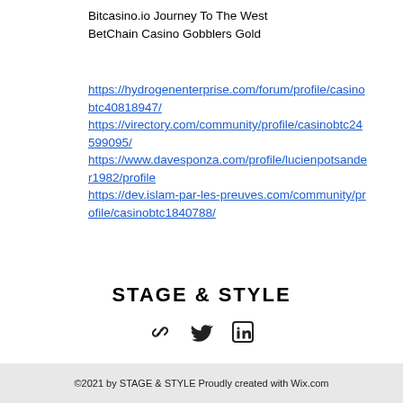Bitcasino.io Journey To The West BetChain Casino Gobblers Gold
https://hydrogenenterprise.com/forum/profile/casinobtc40818947/ https://virectory.com/community/profile/casinobtc24599095/ https://www.davesponza.com/profile/lucienpotsander1982/profile https://dev.islam-par-les-preuves.com/community/profile/casinobtc1840788/
STAGE & STYLE
[Figure (infographic): Social media icons: link/chain icon, Twitter bird icon, LinkedIn icon]
©2021 by STAGE & STYLE Proudly created with Wix.com